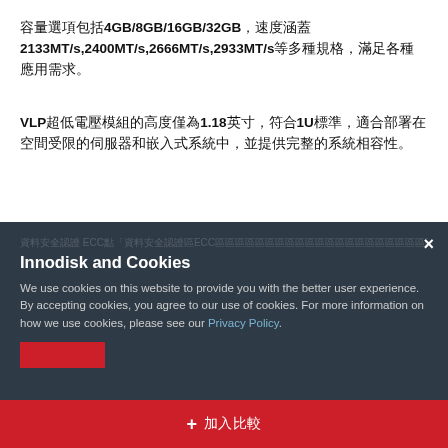容量選項包括4GB/8GB/16GB/32GB，速度涵蓋2133MT/s,2400MT/s,2666MT/s,2933MT/s等多種規格，滿足各種應用需求。
VLP超低電壓模組的高度僅為1.18英寸，符合1U標準，適合部署在空間受限的伺服器和嵌入式系統中，並提供完整的系統相容性。
Innodisk and Cookies - We use cookies on this website to provide you with the better user experience. By accepting cookies, you agree to our use of cookies. For more information on how we use cookies, please see our Privacy Policy.